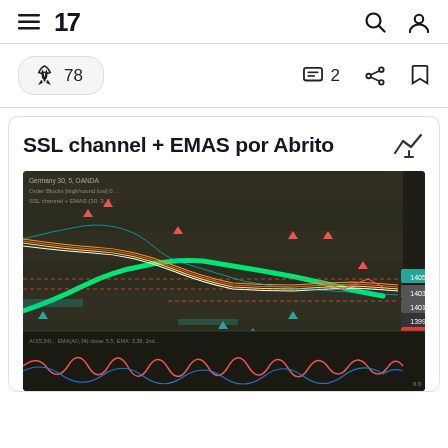TradingView navigation bar with hamburger menu, TV logo, search icon, and user account icon
🚀 78   💬 2   share icon   bookmark icon
SSL channel + EMAS por Abrito
[Figure (screenshot): TradingView chart screenshot showing SSL channel + EMAS indicator on Germany 30 OANDA chart with candlesticks, multiple EMAs (red, yellow, green, white lines), a large green SSL channel curve, red arrow sell signals, green arrow buy signals, and a momentum oscillator panel at the bottom with red and blue wavy lines.]